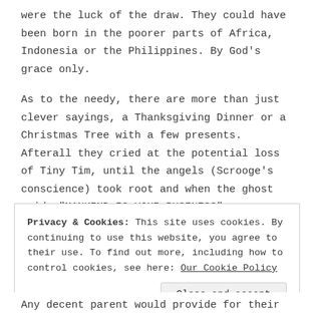were the luck of the draw. They could have been born in the poorer parts of Africa, Indonesia or the Philippines. By God's grace only.
As to the needy, there are more than just clever sayings, a Thanksgiving Dinner or a Christmas Tree with a few presents. Afterall they cried at the potential loss of Tiny Tim, until the angels (Scrooge's conscience) took root and when the ghost said, "MANKIND IS YOUR BUSINESS".
Privacy & Cookies: This site uses cookies. By continuing to use this website, you agree to their use. To find out more, including how to control cookies, see here: Our Cookie Policy
Any decent parent would provide for their